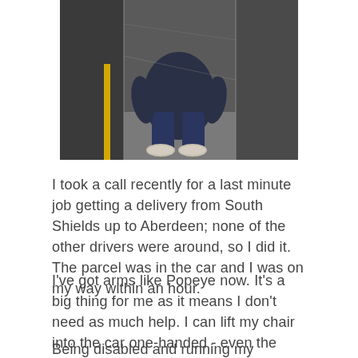[Figure (photo): A person sitting in a narrow space (appears to be a pit or trench), wearing dark clothing and light-colored sneakers, viewed from above.]
I took a call recently for a last minute job getting a delivery from South Shields up to Aberdeen; none of the other drivers were around, so I did it.  The parcel was in the car and I was on my way within an hour.
I've got arms like Popeye now.  It's a big thing for me as it means I don't need as much help.  I can lift my chair into the car one-handed - even the biggest lad in the yard can't do that.
Being disabled and running my business